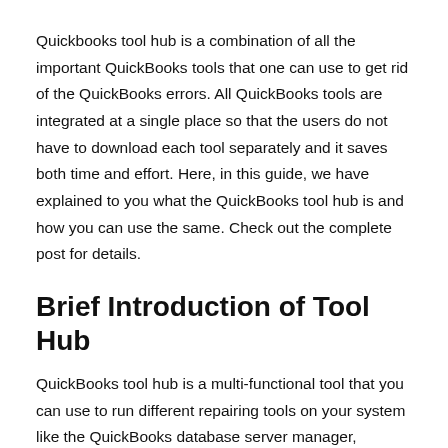Quickbooks tool hub is a combination of all the important QuickBooks tools that one can use to get rid of the QuickBooks errors. All QuickBooks tools are integrated at a single place so that the users do not have to download each tool separately and it saves both time and effort. Here, in this guide, we have explained to you what the QuickBooks tool hub is and how you can use the same. Check out the complete post for details.
Brief Introduction of Tool Hub
QuickBooks tool hub is a multi-functional tool that you can use to run different repairing tools on your system like the QuickBooks database server manager, QuickBooks file doctor tool, QuickBooks connection diagnostic tool, and many others. The tool is recently developed by Intuit for the